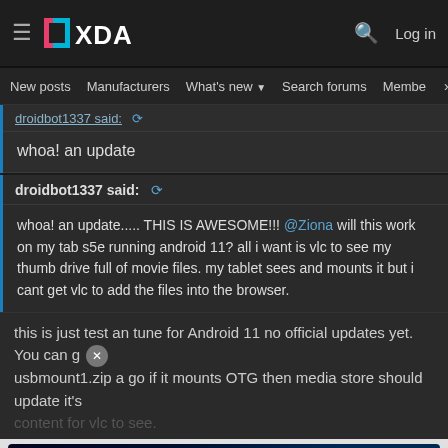XDA Developers - New posts  Manufacturers  What's new  Search forums  Members
droidbot1337 said:
whoa! an update
droidbot1337 said:
whoa! an update..... THIS IS AWESOME!!! @Ziona will this work on my tab s5e running android 11? all i want is vlc to see my thumb drive full of movie files. my tablet sees and mounts it but i cant get vlc to add the files into the browser.
this is just test an tune for Android 11 no official updates yet. You can give usbmount1.zip a go if it mounts OTG then media store should update it's content for vlc to see.
[Figure (screenshot): Disney Bundle advertisement banner with Hulu, Disney+, ESPN+ logos and GET THE DISNEY BUNDLE call-to-action button]